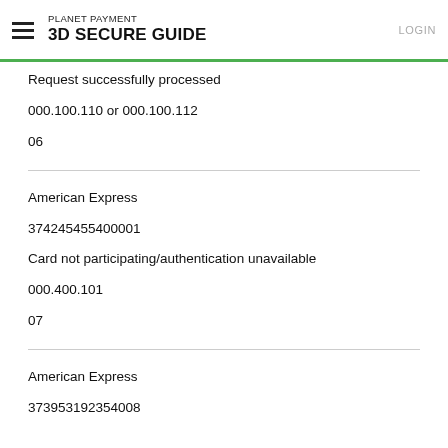PLANET PAYMENT 3D SECURE GUIDE
Request successfully processed
000.100.110 or 000.100.112
06
American Express
374245455400001
Card not participating/authentication unavailable
000.400.101
07
American Express
373953192354008